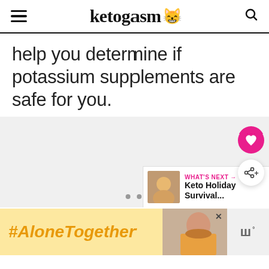ketogasm
help you determine if potassium supplements are safe for you.
[Figure (photo): Light gray image slideshow area with three dot navigation indicators at the bottom center. Pink heart favorite button and white share button float on the right side.]
[Figure (other): WHAT'S NEXT section with thumbnail image and text: Keto Holiday Survival...]
[Figure (other): Ad banner: #AloneTogether in orange italic text on yellow background, with a photo of a woman and brand logo on the right]